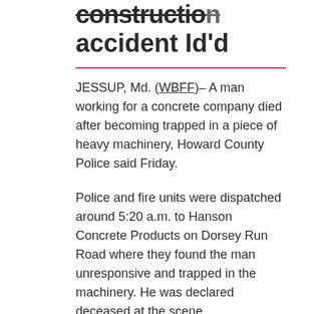construction accident Id'd
JESSUP, Md. (WBFF)– A man working for a concrete company died after becoming trapped in a piece of heavy machinery, Howard County Police said Friday.
Police and fire units were dispatched around 5:20 a.m. to Hanson Concrete Products on Dorsey Run Road where they found the man unresponsive and trapped in the machinery. He was declared deceased at the scene.
Investigators have not released any further details about the type of machinery involved, or how the accident happened.
Police have identified the victim as 32-